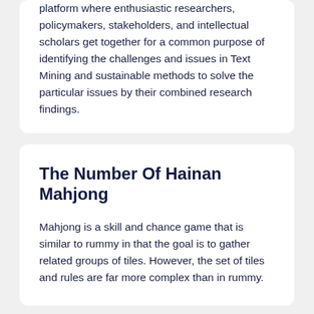platform where enthusiastic researchers, policymakers, stakeholders, and intellectual scholars get together for a common purpose of identifying the challenges and issues in Text Mining and sustainable methods to solve the particular issues by their combined research findings.
The Number Of Hainan Mahjong
Mahjong is a skill and chance game that is similar to rummy in that the goal is to gather related groups of tiles. However, the set of tiles and rules are far more complex than in rummy.